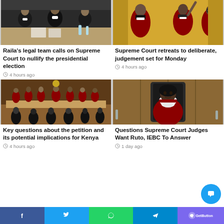[Figure (photo): Lawyers in black robes seated at a table with documents and water bottles during court proceedings]
Raila's legal team calls on Supreme Court to nullify the presidential election
4 hours ago
[Figure (photo): Supreme Court judges in red and black robes, one pointing upward during proceedings]
Supreme Court retreats to deliberate, judgement set for Monday
4 hours ago
[Figure (photo): Wide shot of Supreme Court judges seated at a long table facing audience, courtroom with wooden decor and national coat of arms]
Key questions about the petition and its potential implications for Kenya
4 hours ago
[Figure (photo): Female Supreme Court judge in red and white robes seated in courtroom]
Questions Supreme Court Judges Want Ruto, IEBC To Answer
1 day ago